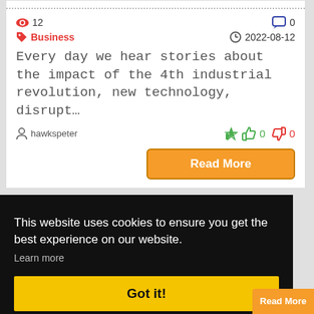12
0
Business
2022-08-12
Every day we hear stories about the impact of the 4th industrial revolution, new technology, disrupt…
hawkspeter
0
0
Read More
This website uses cookies to ensure you get the best experience on our website.
Learn more
Got it!
Read More